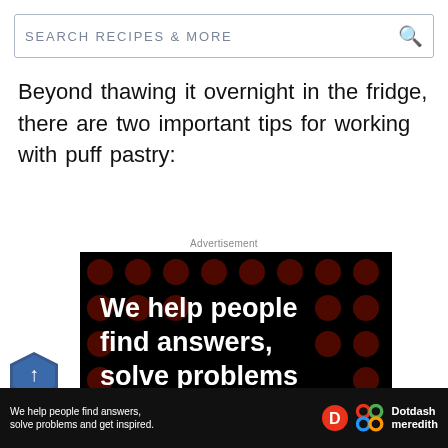SEARCH RECIPES & MORE
Beyond thawing it overnight in the fridge, there are two important tips for working with puff pastry:
Advertisement
[Figure (infographic): Black advertisement banner with dark red dot pattern background. White bold text reads 'We help people find answers, solve problems and get inspired.' with a red period. Below is 'LEARN MORE' with a red arrow, and two logos at the bottom right (Dotdash 'D' logo in red circle and Meredith colorful knot logo).]
BACK TO TOP
[Figure (infographic): Sticky bottom bar advertisement in dark background: white text 'We help people find answers, solve problems and get inspired.' with Dotdash and Meredith logos and brand name.]